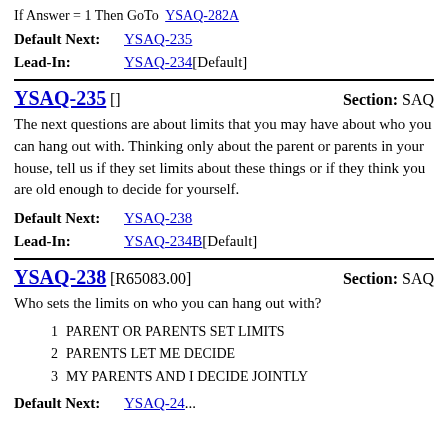If Answer = 1 Then GoTo  YSAQ-282A
Default Next: YSAQ-235
Lead-In: YSAQ-234 [Default]
YSAQ-235 []   Section: SAQ
The next questions are about limits that you may have about who you can hang out with. Thinking only about the parent or parents in your house, tell us if they set limits about these things or if they think you are old enough to decide for yourself.
Default Next: YSAQ-238
Lead-In: YSAQ-234B [Default]
YSAQ-238 [R65083.00]   Section: SAQ
Who sets the limits on who you can hang out with?
1  PARENT OR PARENTS SET LIMITS
2  PARENTS LET ME DECIDE
3  MY PARENTS AND I DECIDE JOINTLY
Default Next: YSAQ-24...